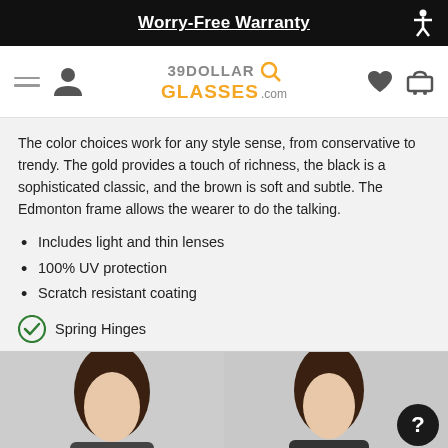Worry-Free Warranty
[Figure (logo): 39DollarGlasses.com logo with navigation icons (hamburger menu, user icon, heart, cart)]
The color choices work for any style sense, from conservative to trendy. The gold provides a touch of richness, the black is a sophisticated classic, and the brown is soft and subtle. The Edmonton frame allows the wearer to do the talking.
Includes light and thin lenses
100% UV protection
Scratch resistant coating
Spring Hinges
[Figure (photo): Two photos of a woman wearing glasses frames side by side on a light gray background]